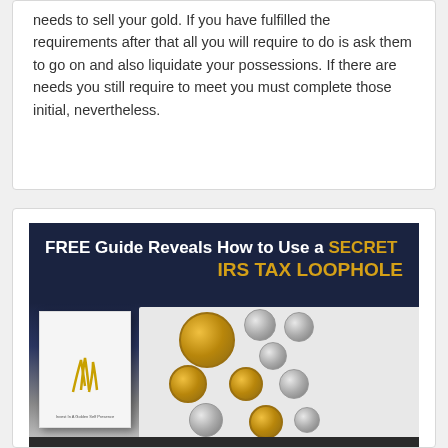needs to sell your gold. If you have fulfilled the requirements after that all you will require to do is ask them to go on and also liquidate your possessions. If there are needs you still require to meet you must complete those initial, nevertheless.
[Figure (illustration): Advertisement image with dark navy background showing 'FREE Guide Reveals How to Use a SECRET IRS TAX LOOPHOLE' text in white and gold, with a white guide booklet on the left showing gold swoosh logo, and an open catalog/book on the right displaying various gold and silver coins.]